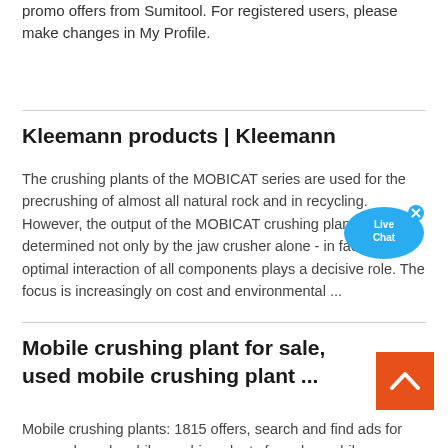promo offers from Sumitool. For registered users, please make changes in My Profile.
Kleemann products | Kleemann
The crushing plants of the MOBICAT series are used for the precrushing of almost all natural rock and in recycling. However, the output of the MOBICAT crushing plant is determined not only by the jaw crusher alone - in fact, the optimal interaction of all components plays a decisive role. The focus is increasingly on cost and environmental ...
[Figure (illustration): Live Chat speech bubble icon with blue background and close (x) button]
Mobile crushing plant for sale, used mobile crushing plant ...
[Figure (other): Orange back-to-top button with white upward arrow chevron]
Mobile crushing plants: 1815 offers, search and find ads for new and used mobile crushing plants for sale, mobile